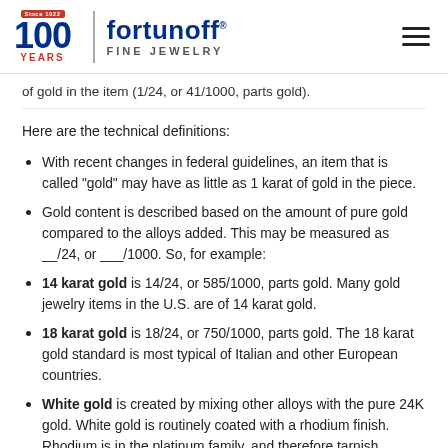fortunoff FINE JEWELRY — 100 YEARS Since 1922
of gold in the item (1/24, or 41/1000, parts gold).
Here are the technical definitions:
With recent changes in federal guidelines, an item that is called "gold" may have as little as 1 karat of gold in the piece.
Gold content is described based on the amount of pure gold compared to the alloys added. This may be measured as __/24, or ___/1000. So, for example:
14 karat gold is 14/24, or 585/1000, parts gold. Many gold jewelry items in the U.S. are of 14 karat gold.
18 karat gold is 18/24, or 750/1000, parts gold. The 18 karat gold standard is most typical of Italian and other European countries.
White gold is created by mixing other alloys with the pure 24K gold. White gold is routinely coated with a rhodium finish. Rhodium is in the platinum family, and therefore tarnish